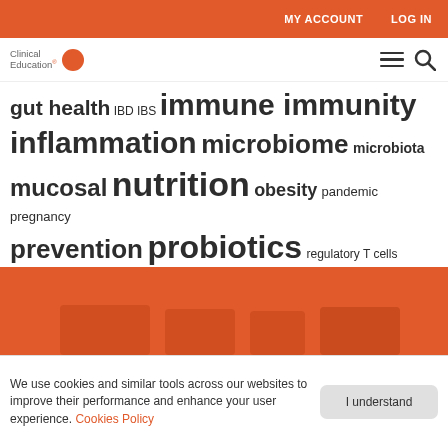MY ACCOUNT   LOG IN
[Figure (logo): Clinical Education logo with orange circle icon]
gut health IBD IBS immune immunity inflammation microbiome microbiota mucosal nutrition obesity pandemic pregnancy prevention probiotics regulatory T cells research swine flu treatment virus Vitamin A vitamin D vitamins
[Figure (photo): Orange background banner image, partially visible]
We use cookies and similar tools across our websites to improve their performance and enhance your user experience. Cookies Policy